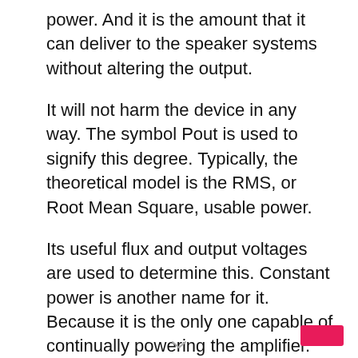power. And it is the amount that it can deliver to the speaker systems without altering the output.
It will not harm the device in any way. The symbol Pout is used to signify this degree. Typically, the theoretical model is the RMS, or Root Mean Square, usable power.
Its useful flux and output voltages are used to determine this. Constant power is another name for it. Because it is the only one capable of continually powering the amplifier.
>